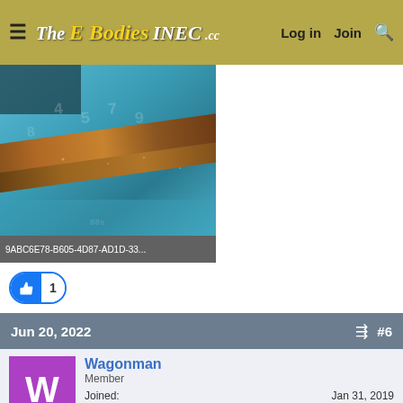The E Bodies INEC.cc — Log in  Join  🔍
[Figure (photo): Close-up photo of a rusty/corroded metal stamped number plate on a teal/blue painted surface. Embossed numbers visible. Image filename label: 9ABC6E78-B605-4D87-AD1D-33...]
1
Jun 20, 2022  #6
Wagonman
Member
| Joined: | Jan 31, 2019 |
| Messages: | 14 |
| Reaction score: | 3 |
| Location: | Deming NM. |